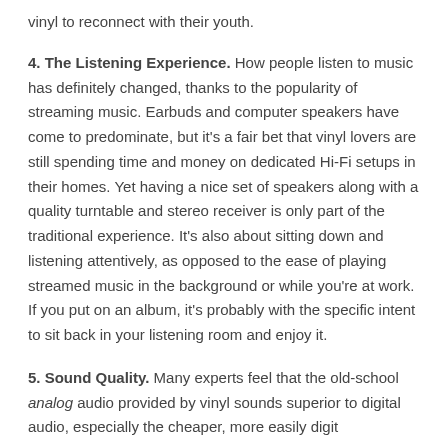vinyl to reconnect with their youth.
4. The Listening Experience. How people listen to music has definitely changed, thanks to the popularity of streaming music. Earbuds and computer speakers have come to predominate, but it's a fair bet that vinyl lovers are still spending time and money on dedicated Hi-Fi setups in their homes. Yet having a nice set of speakers along with a quality turntable and stereo receiver is only part of the traditional experience. It's also about sitting down and listening attentively, as opposed to the ease of playing streamed music in the background or while you're at work. If you put on an album, it's probably with the specific intent to sit back in your listening room and enjoy it.
5. Sound Quality. Many experts feel that the old-school analog audio provided by vinyl sounds superior to digital audio, especially the cheaper, more easily digitized